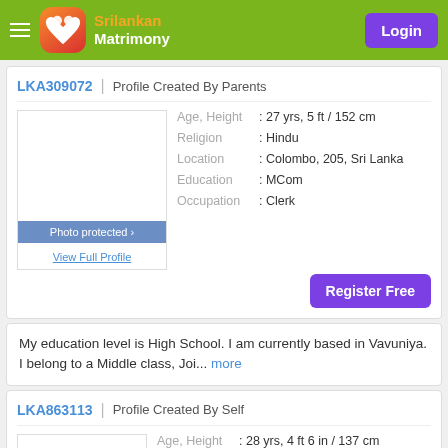SriLankan Matrimony | Login
LKA309072 | Profile Created By Parents
Age, Height : 27 yrs, 5 ft / 152 cm
Religion : Hindu
Location : Colombo, 205, Sri Lanka
Education : MCom
Occupation : Clerk
Register Free
My education level is High School. I am currently based in Vavuniya. I belong to a Middle class, Joi... more
LKA863113 | Profile Created By Self
Age, Height : 28 yrs, 4 ft 6 in / 137 cm
Religion : Christian